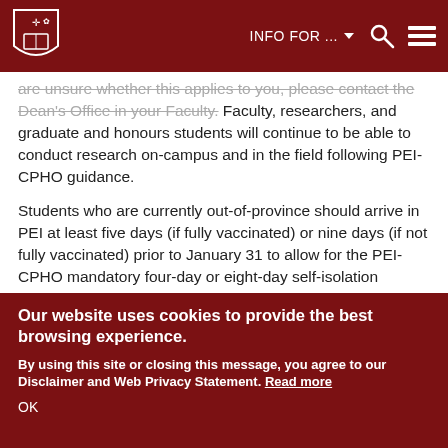INFO FOR ... [navigation bar with logo, search, and menu icons]
are unsure whether this applies to you, please contact the Dean's Office in your Faculty. Faculty, researchers, and graduate and honours students will continue to be able to conduct research on-campus and in the field following PEI-CPHO guidance.
Students who are currently out-of-province should arrive in PEI at least five days (if fully vaccinated) or nine days (if not fully vaccinated) prior to January 31 to allow for the PEI-CPHO mandatory four-day or eight-day self-isolation periods.
To ensure faculty, staff, and students have sufficient
Our website uses cookies to provide the best browsing experience.
By using this site or closing this message, you agree to our Disclaimer and Web Privacy Statement. Read more
OK